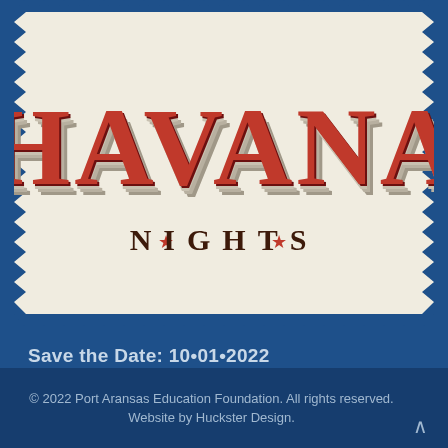[Figure (illustration): Vintage postage stamp-style graphic with the text 'HAVANA NIGHTS' in retro 3D lettering on a cream/off-white background with decorative zigzag stamp perforated edges. 'HAVANA' in large red 3D block letters with gray shadow, '★ NIGHTS ★' in dark brown serif letters below with red star decorations.]
Save the Date: 10•01•2022
Purchase Tickets »
© 2022 Port Aransas Education Foundation. All rights reserved. Website by Huckster Design.